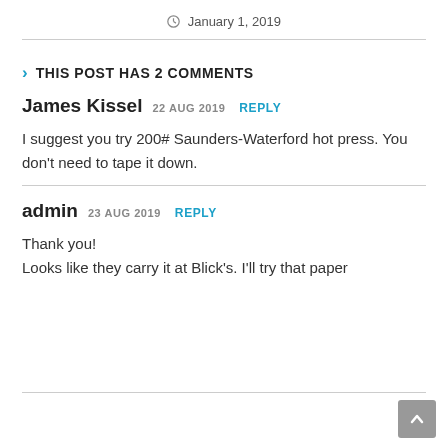January 1, 2019
THIS POST HAS 2 COMMENTS
James Kissel 22 AUG 2019 REPLY
I suggest you try 200# Saunders-Waterford hot press. You don't need to tape it down.
admin 23 AUG 2019 REPLY
Thank you!
Looks like they carry it at Blick's. I'll try that paper